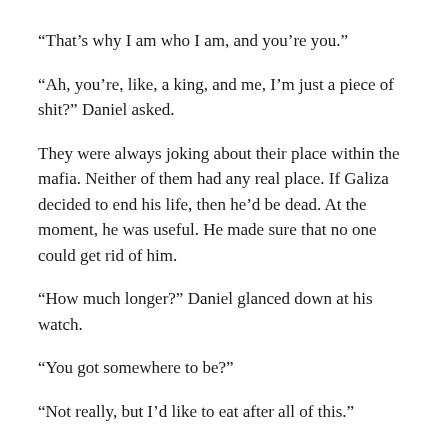“That’s why I am who I am, and you’re you.”
“Ah, you’re, like, a king, and me, I’m just a piece of shit?” Daniel asked.
They were always joking about their place within the mafia. Neither of them had any real place. If Galiza decided to end his life, then he’d be dead. At the moment, he was useful. He made sure that no one could get rid of him.
“How much longer?” Daniel glanced down at his watch.
“You got somewhere to be?”
“Not really, but I’d like to eat after all of this.”
“And you think I’m the sick***.